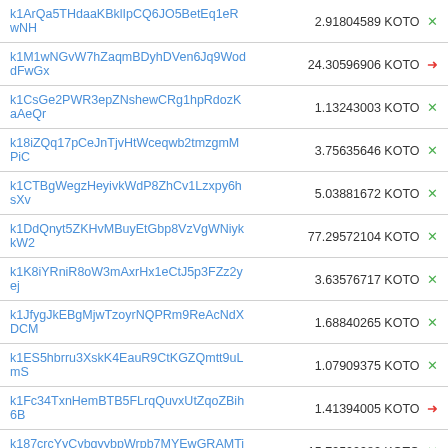| Address | Amount |
| --- | --- |
| k1ArQa5THdaaKBklIpCQ6JO5BetEq1eRwNH | 2.91804589 KOTO |
| k1M1wNGvW7hZaqmBDyhDVen6Jq9WoddFwGx | 24.30596906 KOTO |
| k1CsGe2PWR3epZNshewCRg1hpRdozKaAeQr | 1.13243003 KOTO |
| k18iZQq17pCeJnTjvHtWceqwb2tmzgmMPiC | 3.75635646 KOTO |
| k1CTBgWegzHeyivkWdP8ZhCv1Lzxpy6hsXv | 5.03881672 KOTO |
| k1DdQnyt5ZKHvMBuyEtGbp8VzVgWNiykkW2 | 77.29572104 KOTO |
| k1K8iYRniR8oW3mAxrHx1eCtJ5p3FZz2yej | 3.63576717 KOTO |
| k1JfygJkEBgMjwTzoyrNQPRm9ReAcNdXDCM | 1.68840265 KOTO |
| k1ES5hbrru3XskK4EauR9CtKGZQmtt9uLmS | 1.07909375 KOTO |
| k1Fc34TxnHemBTB5FLrqQuvxUtZqoZBih6B | 1.41394005 KOTO |
| k187crcYyCvbqyybpWrpb7MYEwGRAMTi78u | 15.79500982 KOTO |
| k1LV3ELaFWUUzDp2pGfK1uT8w4DRWsDttoG | 11.63585858 KOTO |
| k14zfKSboXoZ7RkVihRiMR5EzG3b46X8VLq | 11.57864237 KOTO |
| k1KNuvkbHZDY6A9wH2tWrjn8MUKGYXLCgFz | 156.71869437 KOTO |
| jzzHhtoAiWH6crPJMXC6KJjgbYkPsrpxtrN | 70.32811235 KOTO |